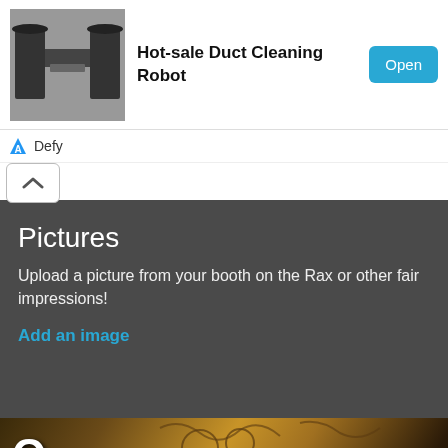[Figure (screenshot): Ad banner: product image of a duct cleaning robot machine with brush attachments]
Hot-sale Duct Cleaning Robot
Open
Defy
Pictures
Upload a picture from your booth on the Rax or other fair impressions!
Add an image
[Figure (photo): Hotel sign reading HOTEL in large white letters, ornate ironwork in background, warm amber/orange lighting]
This site uses cookies and gives you control over what you want to share. You can find out how Google processes your data in Google's privacy policy.
Research hotels in Tel Aviv
Personalize
Privacy policy